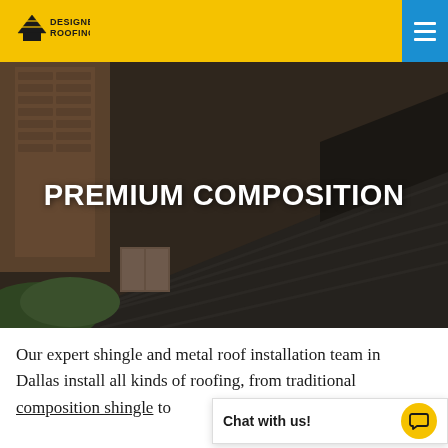Designer Roofing
[Figure (photo): Aerial/angled photograph of a brick house with dark composition shingles on the roof, showing chimneys and roofline details, with text overlay reading PREMIUM COMPOSITION]
PREMIUM COMPOSITION
Our expert shingle and metal roof installation team in Dallas install all kinds of roofing, from traditional composition shingle to...
Chat with us!